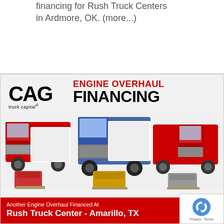financing for Rush Truck Centers in Ardmore, OK. (more...)
[Figure (illustration): CAG Truck Capital advertisement for Engine Overhaul Financing featuring three large semi trucks (red, blue, red) and three diesel engines displayed in front, with red banner at bottom reading 'Another Engine Overhaul Financed At Rush Truck Center - Amarillo, TX']